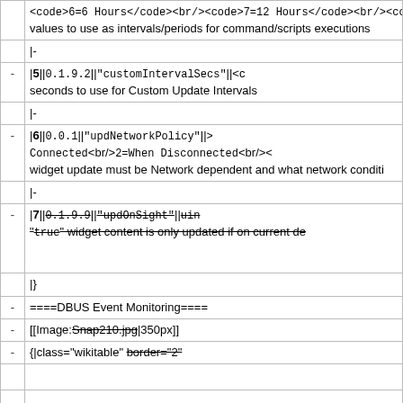|  | <code>6=6 Hours</code><br/><code>7=12 Hours</code><br/><co values to use as intervals/periods for command/scripts executions |
|  | |- |
| - | |5||<code>0.1.9.2</code>||<code>'customIntervalSecs'</code>||<c seconds to use for Custom Update Intervals |
|  | |- |
| - | |6||<code>0.0.1</code>||<code>'updNetworkPolicy'</code>||<code> Connected</code><br/><code>2=When Disconnected</code><br/>< widget update must be Network dependent and what network conditi |
|  | |- |
| - | |7||<code>0.1.9.9</code>||<code>'updOnSight'</code>||<code>uin '"<code>true</code>'" widget content is only updated if on current de |
|  | |} |
| - | ====DBUS Event Monitoring==== |
| - | [[Image:Snap210.jpg|350px]] |
| - | {|class="wikitable" border="2" |
|  |  |
|  |  |
|  | !Ref #!!Release!!Parameter!!Type!!Possible Values!!Description |
|  | |- |